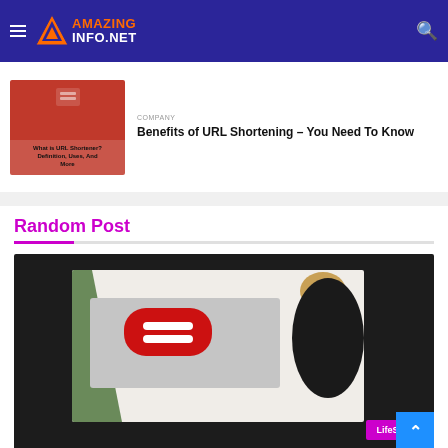AMAZING INFO.NET navigation bar
[Figure (screenshot): Thumbnail image for URL Shortener article with red background and text: What is URL Shortener? Definition, Uses, And More]
Benefits of URL Shortening – You Need To Know
Random Post
[Figure (photo): Photo of a red oval remote control or gadget on a laptop, next to a camera lens and cork item, on white background. LifeStyle badge visible.]